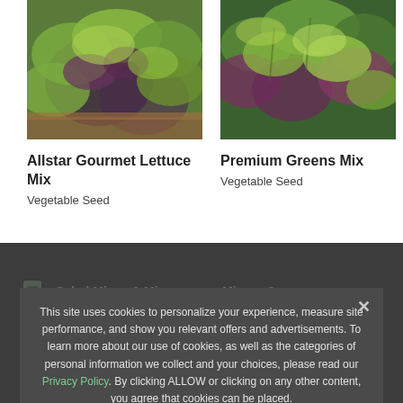[Figure (photo): Photo of Allstar Gourmet Lettuce Mix — green and purple lettuce leaves in a wooden container]
Allstar Gourmet Lettuce Mix
Vegetable Seed
[Figure (photo): Photo of Premium Greens Mix — mixed green and purple leafy greens]
Premium Greens Mix
Vegetable Seed
This site uses cookies to personalize your experience, measure site performance, and show you relevant offers and advertisements. To learn more about our use of cookies, as well as the categories of personal information we collect and your choices, please read our Privacy Policy. By clicking ALLOW or clicking on any other content, you agree that cookies can be placed.
ALLOW
Salad Mixes & Microgreens Mixes...
Baby Leaf Greens & Baby Leaf Lettuce...